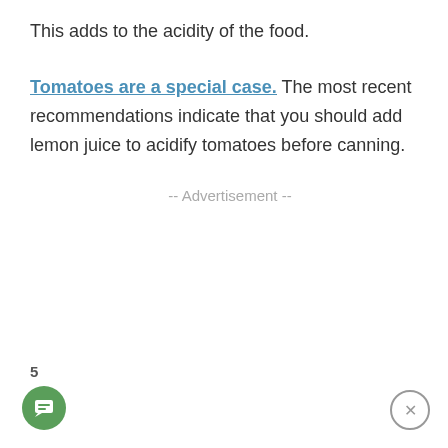This adds to the acidity of the food.
Tomatoes are a special case. The most recent recommendations indicate that you should add lemon juice to acidify tomatoes before canning.
-- Advertisement --